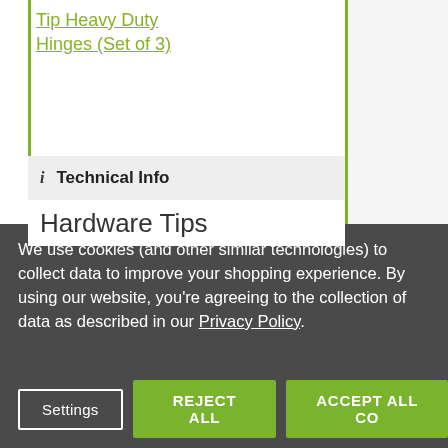Tip Heavy Duty Hinges (Set of 3)
i  Technical Info
Hardware Tips
We use cookies (and other similar technologies) to collect data to improve your shopping experience. By using our website, you're agreeing to the collection of data as described in our Privacy Policy.
Settings
REJECT ALL
ACCEPT ALL CO